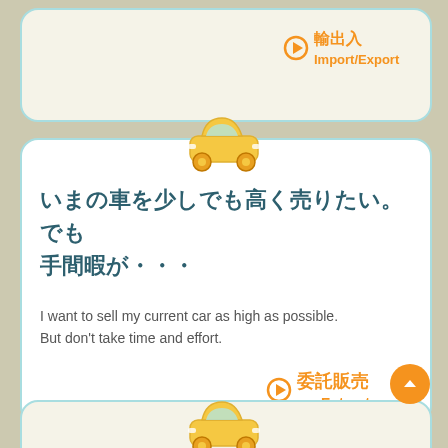[Figure (illustration): Partially visible top card with Import/Export label in orange Japanese and English text with circle arrow icon, on a beige/cream rounded card with teal border]
[Figure (illustration): Yellow cartoon car icon positioned above the main white card]
いまの車を少しでも高く売りたい。でも手間暇が・・・
I want to sell my current car as high as possible. But don't take time and effort.
委託販売 Entrust
[Figure (illustration): Orange circular up/back button at bottom right]
[Figure (illustration): Partially visible bottom card with yellow cartoon car icon]